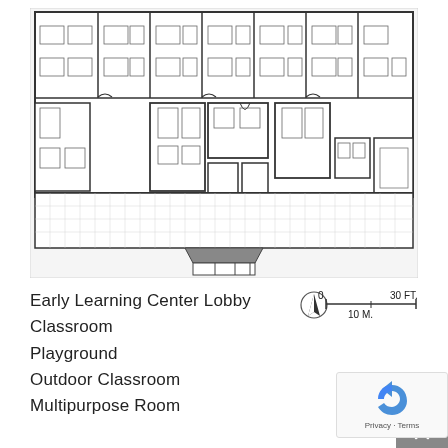[Figure (engineering-diagram): Architectural floor plan of an Early Learning Center building. Shows a long rectangular structure with multiple classrooms along the top, a central corridor, lobby area, restrooms, multipurpose room, and lower section indicating a playground/outdoor area with a grid pattern. Entry canopy visible at bottom center.]
Early Learning Center Lobby
Classroom
Playground
Outdoor Classroom
Multipurpose Room